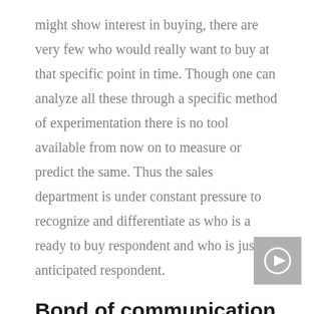might show interest in buying, there are very few who would really want to buy at that specific point in time. Though one can analyze all these through a specific method of experimentation there is no tool available from now on to measure or predict the same. Thus the sales department is under constant pressure to recognize and differentiate as who is a ready to buy respondent and who is just an anticipated respondent.
Bond of communication
Sending a clear message to the prospects that the organization has their welfare in mind and